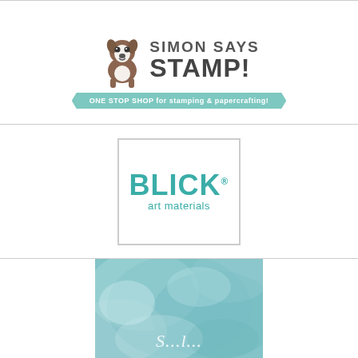[Figure (logo): Simon Says Stamp logo with Boston Terrier dog mascot, text SIMON SAYS STAMP! and teal banner reading ONE STOP SHOP for stamping & papercrafting!]
[Figure (logo): Blick art materials logo in teal color inside a rectangular border]
[Figure (illustration): Watercolor blue/teal background with white script text partially visible at bottom]